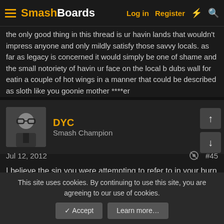SmashBoards — Log in  Register
the only good thing in this thread is ur havin lands that wouldn't impress anyone and only mildly satisfy those savvy locals. as far as legacy is concerned it would simply be one of shame and the small notoriety of havin ur face on the local b dubs wall for eatin a couple of hot wings in a manner that could be described as sloth like you goonie mother ****er
DYC
Smash Champion
Jul 12, 2012  #45
I believe the sin you were attempting to refer to in your burn was gluttony. If I was sloth I wouldn't even get out of the house to go to bdubs. Don't worry I'll make sure she gives the kid your last name so there is someone of worth in your family tree.
[Figure (illustration): Small icon of a smartphone/mobile phone]
This site uses cookies. By continuing to use this site, you are agreeing to our use of cookies.
✓ Accept   Learn more…